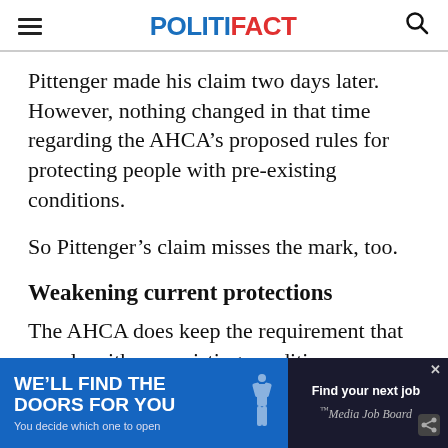POLITIFACT
Pittenger made his claim two days later. However, nothing changed in that time regarding the AHCA’s proposed rules for protecting people with pre-existing conditions.
So Pittenger’s claim misses the mark, too.
Weakening current protections
The AHCA does keep the requirement that people with pre-existing conditions must be offered…
[Figure (other): Advertisement banner: 'WE'LL FIND THE DOORS FOR YOU / You decide which one to open' on blue background, alongside 'Find your next job / Media Job Board' on dark background with close button and share icon.]